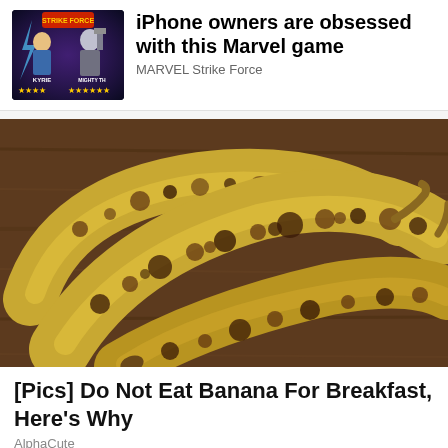[Figure (screenshot): Advertisement banner for MARVEL Strike Force app game showing characters KYRIE and MIGHTY THO with star ratings on a dark fantasy background]
iPhone owners are obsessed with this Marvel game
MARVEL Strike Force
[Figure (photo): Three ripe/overripe bananas with brown spots laid on a wooden surface, photographed close up]
[Pics] Do Not Eat Banana For Breakfast, Here's Why
AlphaCute